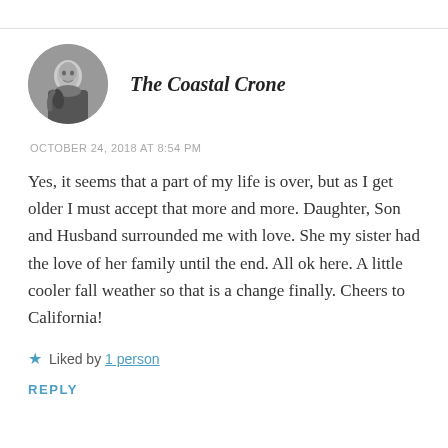[Figure (photo): Circular avatar photo of a woman in black and white]
The Coastal Crone
OCTOBER 24, 2018 AT 8:54 PM
Yes, it seems that a part of my life is over, but as I get older I must accept that more and more. Daughter, Son and Husband surrounded me with love. She my sister had the love of her family until the end. All ok here. A little cooler fall weather so that is a change finally. Cheers to California!
Liked by 1 person
REPLY